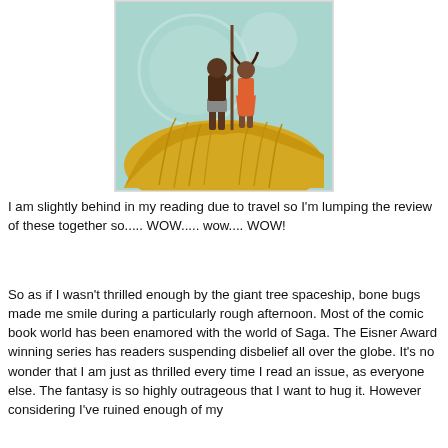[Figure (illustration): Book cover illustration showing two children standing atop a large mound of golden wheat/grass. The taller child holds a long staff/pole and the shorter child in a pink/orange outfit stands beside them. The background features a pale teal/mint color with circular moon-like shapes and abstract designs. The image has a painted/illustrated art style.]
I am slightly behind in my reading due to travel so I'm lumping the review of these together so..... WOW..... wow.... WOW!
So as if I wasn't thrilled enough by the giant tree spaceship, bone bugs made me smile during a particularly rough afternoon. Most of the comic book world has been enamored with the world of Saga. The Eisner Award winning series has readers suspending disbelief all over the globe. It's no wonder that I am just as thrilled every time I read an issue, as everyone else. The fantasy is so highly outrageous that I want to hug it. However considering I've ruined enough of my